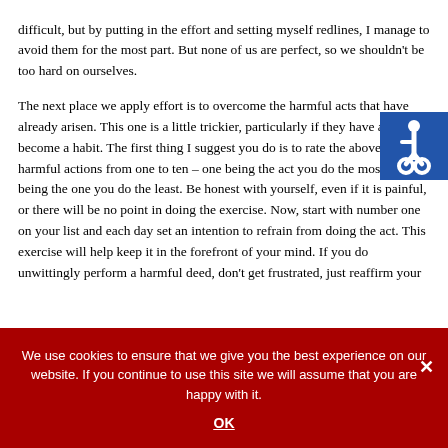difficult, but by putting in the effort and setting myself redlines, I manage to avoid them for the most part. But none of us are perfect, so we shouldn't be too hard on ourselves.

The next place we apply effort is to overcome the harmful acts that have already arisen. This one is a little trickier, particularly if they have already become a habit. The first thing I suggest you do is to rate the above list of harmful actions from one to ten – one being the act you do the most and ten being the one you do the least. Be honest with yourself, even if it is painful, or there will be no point in doing the exercise. Now, start with number one on your list and each day set an intention to refrain from doing the act. This exercise will help keep it in the forefront of your mind. If you do unwittingly perform a harmful deed, don't get frustrated, just reaffirm your
[Figure (infographic): Accessibility icon - white wheelchair symbol on blue background]
We use cookies to ensure that we give you the best experience on our website. If you continue to use this site we will assume that you are happy with it.
OK